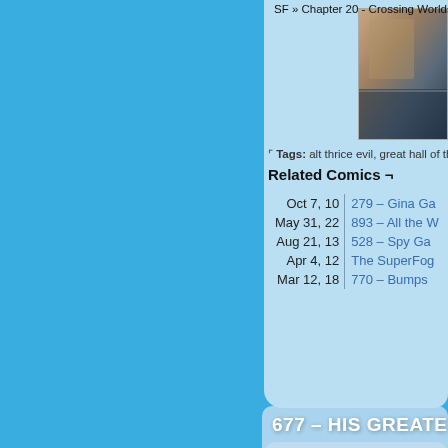SF » Chapter 20 - Crossing Worlds
[Figure (photo): Thumbnail image of a comic book page with dark tones]
⌐ Tags: alt thrice evil, great hall of the
Related Comics ¬
| Date | Comic |
| --- | --- |
| Oct 7, 10 | 279 – Gina Ga… |
| May 31, 22 | 893 – All the W… |
| Aug 21, 13 | 528 – Spy Ga… |
| Apr 4, 12 | The SuperFog… |
| Mar 12, 18 | 770 – Bumps … |
677 – HIS GREATEST C…